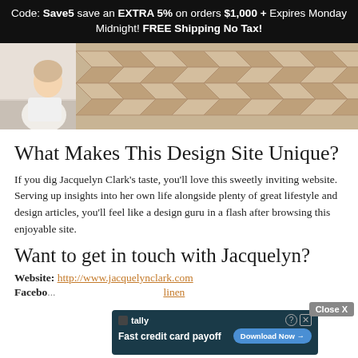Code: Save5 save an EXTRA 5% on orders $1,000 + Expires Monday Midnight! FREE Shipping No Tax!
[Figure (photo): Banner image showing a woman on the left and herringbone wood flooring on the right]
What Makes This Design Site Unique?
If you dig Jacquelyn Clark's taste, you'll love this sweetly inviting website. Serving up insights into her own life alongside plenty of great lifestyle and design articles, you'll feel like a design guru in a flash after browsing this enjoyable site.
Want to get in touch with Jacquelyn?
Website: http://www.jacquelynclark.com
Facebo... linen
[Figure (screenshot): Tally app advertisement overlay: 'Fast credit card payoff' with Download Now button. Close X button visible.]